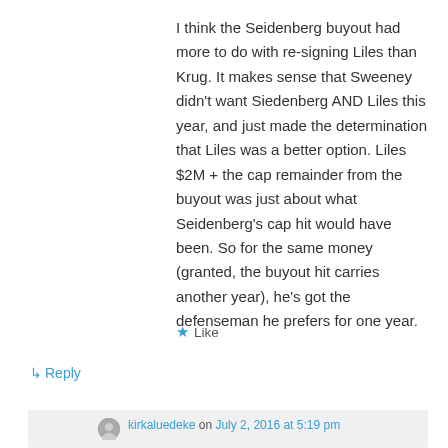I think the Seidenberg buyout had more to do with re-signing Liles than Krug. It makes sense that Sweeney didn't want Siedenberg AND Liles this year, and just made the determination that Liles was a better option. Liles $2M + the cap remainder from the buyout was just about what Seidenberg's cap hit would have been. So for the same money (granted, the buyout hit carries another year), he's got the defenseman he prefers for one year.
★ Like
↳ Reply
kirkaluedeke on July 2, 2016 at 5:19 pm